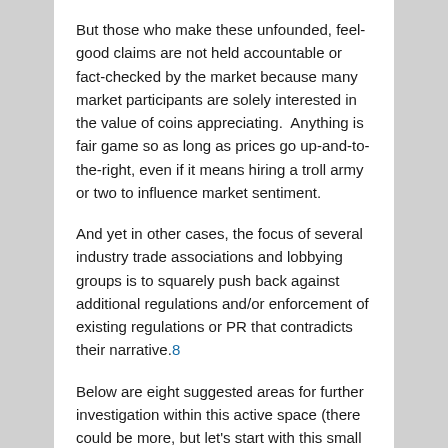But those who make these unfounded, feel-good claims are not held accountable or fact-checked by the market because many market participants are solely interested in the value of coins appreciating.  Anything is fair game so as long as prices go up-and-to-the-right, even if it means hiring a troll army or two to influence market sentiment.
And yet in other cases, the focus of several industry trade associations and lobbying groups is to squarely push back against additional regulations and/or enforcement of existing regulations or PR that contradicts their narrative.8
Below are eight suggested areas for further investigation within this active space (there could be more, but let's start with this small handful):
(1) Bitfinex
[Figure (logo): Bitfinex logo — dark blue text 'BITFINEX' with a green leaf icon to the right, and a red stamp-like overlay partially visible at the bottom center]